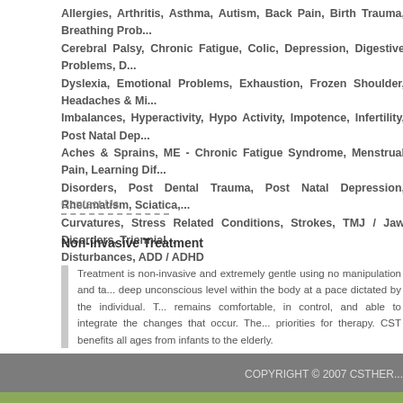Allergies, Arthritis, Asthma, Autism, Back Pain, Birth Trauma, Breathing Problems, Cerebral Palsy, Chronic Fatigue, Colic, Depression, Digestive Problems, Dyslexia, Emotional Problems, Exhaustion, Frozen Shoulder, Headaches & Migraines, Hormonal Imbalances, Hyperactivity, Hypo Activity, Impotence, Infertility, Post Natal Depression, Muscular Aches & Sprains, ME - Chronic Fatigue Syndrome, Menstrual Pain, Learning Difficulties, Sleep Disorders, Post Dental Trauma, Post Natal Depression, Rheumatism, Sciatica, Spinal Curvatures, Stress Related Conditions, Strokes, TMJ / Jaw Disorders, Triennial Disturbances, ADD / ADHD
Contact Us
Non-invasive Treatment
Treatment is non-invasive and extremely gentle using no manipulation and takes place at a deep unconscious level within the body at a pace dictated by the individual. This ensures the patient remains comfortable, in control, and able to integrate the changes that occur. The body itself sets the priorities for therapy. CST benefits all ages from infants to the elderly.
COPYRIGHT © 2007 CSTHER...